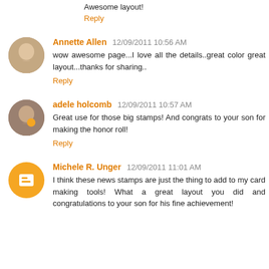Awesome layout!
Reply
Annette Allen  12/09/2011 10:56 AM
wow awesome page...I love all the details..great color great layout...thanks for sharing..
Reply
adele holcomb  12/09/2011 10:57 AM
Great use for those big stamps! And congrats to your son for making the honor roll!
Reply
Michele R. Unger  12/09/2011 11:01 AM
I think these news stamps are just the thing to add to my card making tools! What a great layout you did and congratulations to your son for his fine achievement!